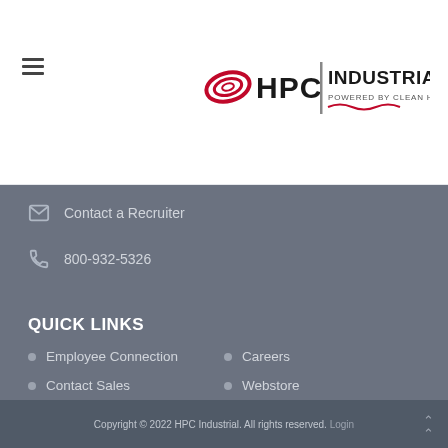[Figure (logo): HPC Industrial - Powered by Clean Harbors logo with red swirl icon and vertical bar separator]
Contact a Recruiter
800-932-5326
QUICK LINKS
Employee Connection
Careers
Contact Sales
Webstore
Privacy & Use Policy
Contact HR
Copyright © 2022 HPC Industrial. All rights reserved. Login